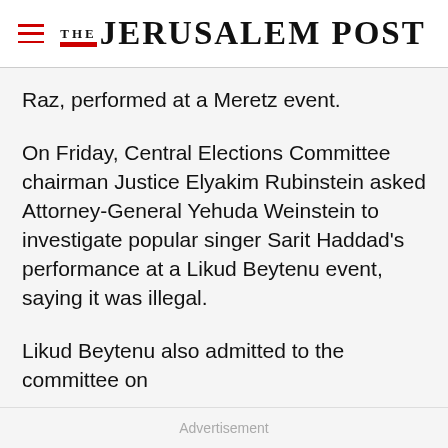THE JERUSALEM POST
Raz, performed at a Meretz event.
On Friday, Central Elections Committee chairman Justice Elyakim Rubinstein asked Attorney-General Yehuda Weinstein to investigate popular singer Sarit Haddad’s performance at a Likud Beytenu event, saying it was illegal.
Likud Beytenu also admitted to the committee on
Advertisement